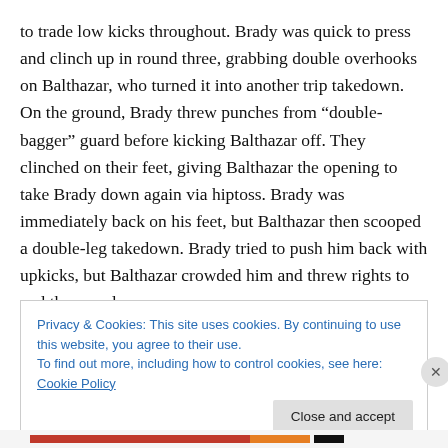to trade low kicks throughout. Brady was quick to press and clinch up in round three, grabbing double overhooks on Balthazar, who turned it into another trip takedown. On the ground, Brady threw punches from “double-bagger” guard before kicking Balthazar off. They clinched on their feet, giving Balthazar the opening to take Brady down again via hiptoss. Brady was immediately back on his feet, but Balthazar then scooped a double-leg takedown. Brady tried to push him back with upkicks, but Balthazar crowded him and threw rights to end the round.
Privacy & Cookies: This site uses cookies. By continuing to use this website, you agree to their use.
To find out more, including how to control cookies, see here: Cookie Policy